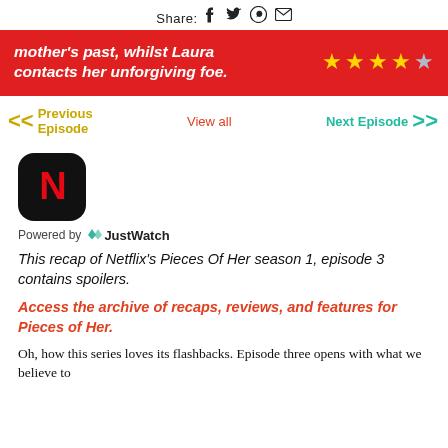Share: [facebook] [twitter] [whatsapp] [email]
mother's past, whilst Laura contacts her unforgiving foe. ★★★★☆
Previous Episode   View all   Next Episode
[Figure (logo): Netflix N logo on black rounded square background]
Powered by JustWatch
This recap of Netflix's Pieces Of Her season 1, episode 3 contains spoilers.
Access the archive of recaps, reviews, and features for Pieces of Her.
Oh, how this series loves its flashbacks. Episode three opens with what we believe to